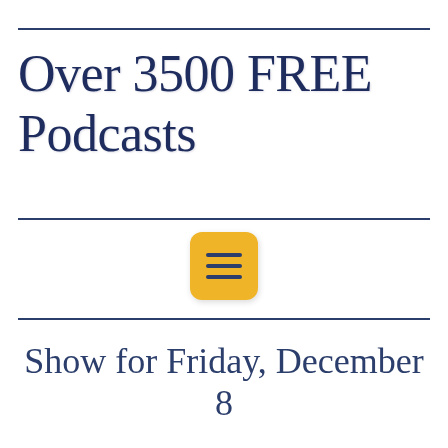Over 3500 FREE Podcasts
[Figure (illustration): Yellow rounded square icon with three horizontal dark navy lines (hamburger/menu icon) centered on white background between two horizontal navy divider lines]
Show for Friday, December 8